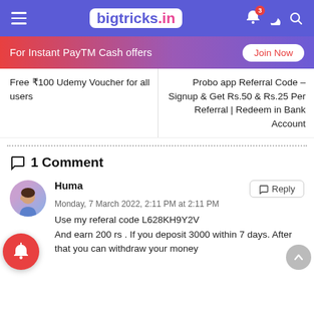bigtricks.in
For Instant PayTM Cash offers  Join Now
Free ₹100 Udemy Voucher for all users
Probo app Referral Code – Signup & Get Rs.50 & Rs.25 Per Referral | Redeem in Bank Account
1 Comment
Huma
Monday, 7 March 2022, 2:11 PM at 2:11 PM
Use my referal code L628KH9Y2V
And earn 200 rs . If you deposit 3000 within 7 days. After that you can withdraw your money